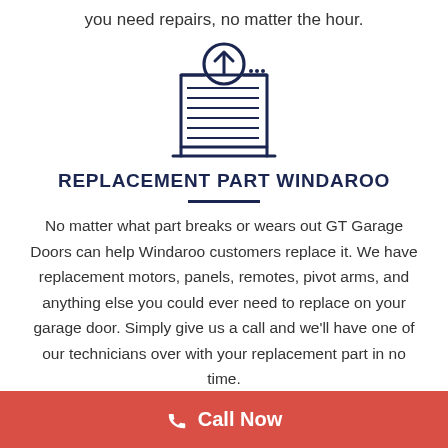you need repairs, no matter the hour.
[Figure (illustration): Icon of a garage door with an upward arrow in a circle on top, representing replacement/installation service.]
REPLACEMENT PART WINDAROO
No matter what part breaks or wears out GT Garage Doors can help Windaroo customers replace it. We have replacement motors, panels, remotes, pivot arms, and anything else you could ever need to replace on your garage door. Simply give us a call and we'll have one of our technicians over with your replacement part in no time.
Call Now